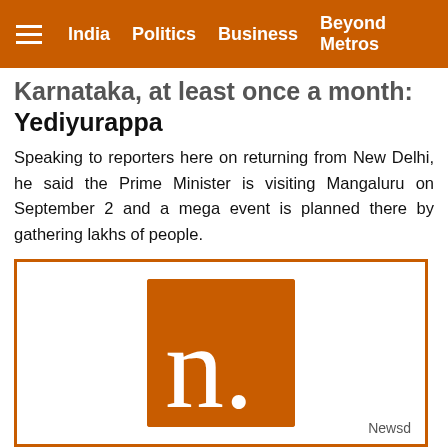India | Politics | Business | Beyond Metros
Karnataka, at least once a month: Yediyurappa
Speaking to reporters here on returning from New Delhi, he said the Prime Minister is visiting Mangaluru on September 2 and a mega event is planned there by gathering lakhs of people.
[Figure (logo): Newsd logo — orange square with white letter 'n.' inside, labeled 'Newsd' at bottom right]
Chief stiffs from reigning to...